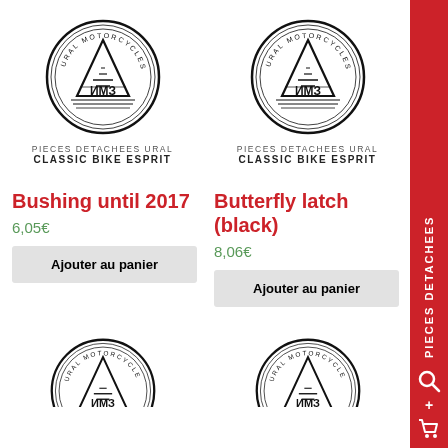[Figure (logo): Ural Motorcycles circular logo with mountain/triangle graphic]
PIECES DETACHEES URAL
CLASSIC BIKE ESPRIT
Bushing until 2017
6,05€
Ajouter au panier
[Figure (logo): Ural Motorcycles circular logo with mountain/triangle graphic]
PIECES DETACHEES URAL
CLASSIC BIKE ESPRIT
Butterfly latch (black)
8,06€
Ajouter au panier
[Figure (logo): Ural Motorcycles circular logo partial (bottom of page)]
[Figure (logo): Ural Motorcycles circular logo partial (bottom of page)]
[Figure (infographic): Red sidebar with PIECES DETACHEES text vertical, search icon, and cart icon]